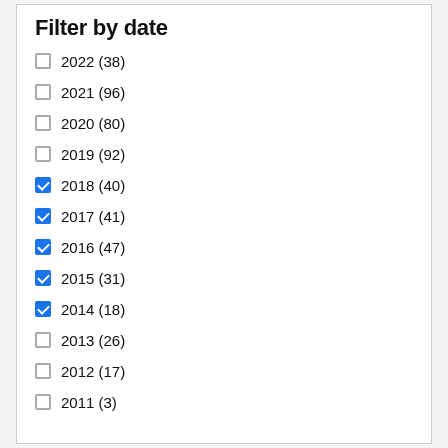Filter by date
2022 (38)
2021 (96)
2020 (80)
2019 (92)
2018 (40)
2017 (41)
2016 (47)
2015 (31)
2014 (18)
2013 (26)
2012 (17)
2011 (3)